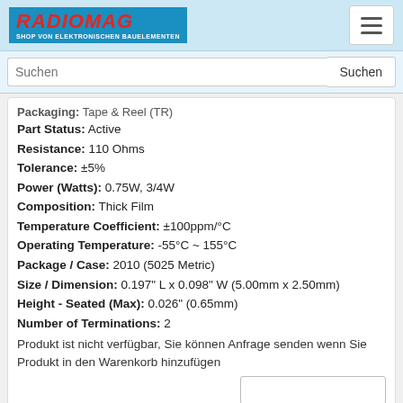RADIOMAG - SHOP VON ELEKTRONISCHEN BAUELEMENTEN
Suchen
Packaging: Tape & Reel (TR)
Part Status: Active
Resistance: 110 Ohms
Tolerance: ±5%
Power (Watts): 0.75W, 3/4W
Composition: Thick Film
Temperature Coefficient: ±100ppm/°C
Operating Temperature: -55°C ~ 155°C
Package / Case: 2010 (5025 Metric)
Size / Dimension: 0.197" L x 0.098" W (5.00mm x 2.50mm)
Height - Seated (Max): 0.026" (0.65mm)
Number of Terminations: 2
Produkt ist nicht verfügbar, Sie können Anfrage senden wenn Sie Produkt in den Warenkorb hinzufügen
kaufen
CR025100F
[Figure (logo): PDF icon - red Acrobat logo]
CR025100F
Hersteller: Meritek